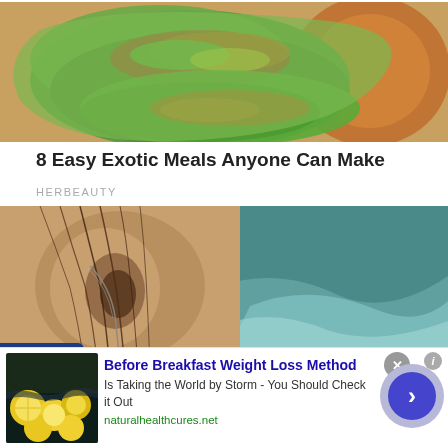[Figure (photo): Photo of lettuce/spinach wraps filled with colorful vegetables including red cabbage, carrots, and cucumbers, with a wooden bowl in the background]
8 Easy Exotic Meals Anyone Can Make
HERBEAUTY
[Figure (photo): Close-up photo of a person's ear with a necklace chain, next to an ocean wave scene]
[Figure (photo): Advertisement image showing lemons/citrus in water - Before Breakfast Weight Loss Method ad from naturalhealthcures.net]